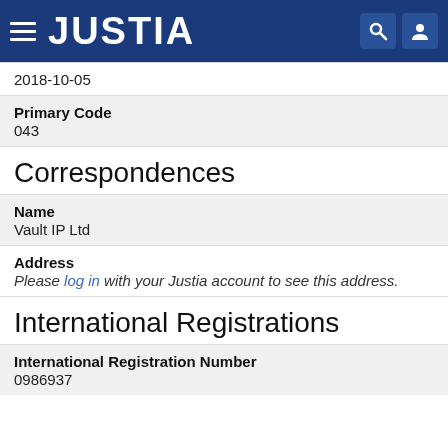JUSTIA
2018-10-05
Primary Code
043
Correspondences
Name
Vault IP Ltd
Address
Please log in with your Justia account to see this address.
International Registrations
International Registration Number
0986937